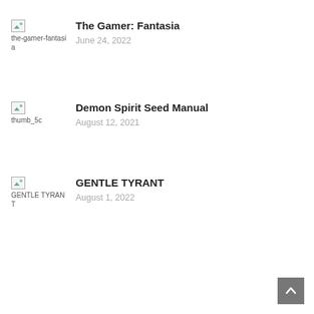The Gamer: Fantasia — June 24, 2022
Demon Spirit Seed Manual — August 12, 2021
GENTLE TYRANT — August 1, 2022